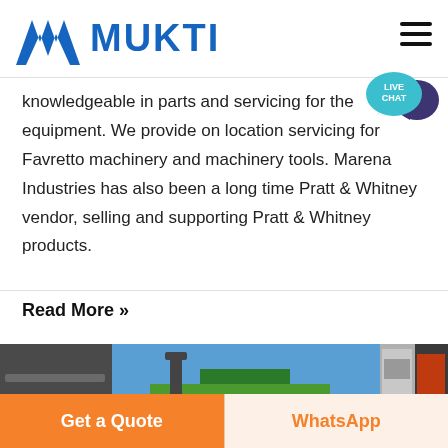MUKTI
knowledgeable in parts and servicing for the equipment. We provide on location servicing for Favretto machinery and machinery tools. Marena Industries has also been a long time Pratt & Whitney vendor, selling and supporting Pratt & Whitney products.
Read More »
[Figure (photo): Strip of four industrial machinery photos including conveyor belts, excavator, and crushing equipment]
Get a Quote
WhatsApp